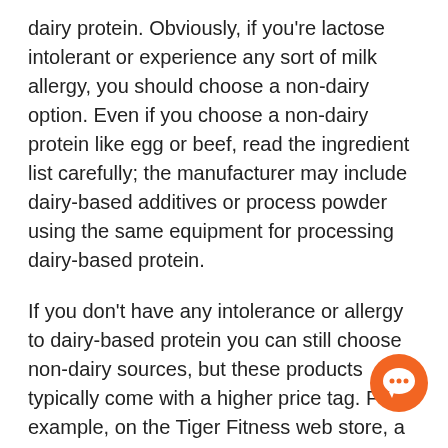dairy protein. Obviously, if you're lactose intolerant or experience any sort of milk allergy, you should choose a non-dairy option. Even if you choose a non-dairy protein like egg or beef, read the ingredient list carefully; the manufacturer may include dairy-based additives or process powder using the same equipment for processing dairy-based protein.
If you don't have any intolerance or allergy to dairy-based protein you can still choose non-dairy sources, but these products typically come with a higher price tag. For example, on the Tiger Fitness web store, a 5lb Tub of MTS Whey Protein costs $54.99, whereas a 5lb tub of MHP IsoPrime 100% Beef Protein costs $62.86 and 5lbs of ON Gold Standard Egg Protein costs $108.73.
Protein supplement should also consider whether th an animal, vegetarian, or vegan protein source. This decision
[Figure (illustration): Orange circular chat bubble icon in the bottom right area of the page]